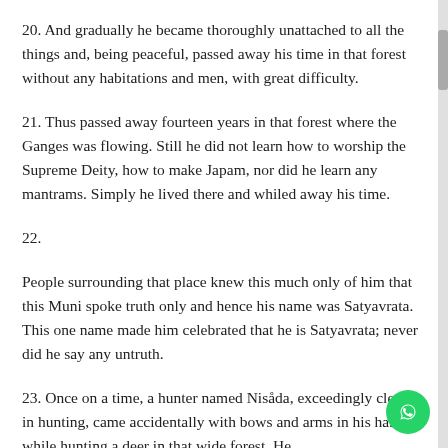20. And gradually he became thoroughly unattached to all the things and, being peaceful, passed away his time in that forest without any habitations and men, with great difficulty.
21. Thus passed away fourteen years in that forest where the Ganges was flowing. Still he did not learn how to worship the Supreme Deity, how to make Japam, nor did he learn any mantrams. Simply he lived there and whiled away his time.
22.
People surrounding that place knew this much only of him that this Muni spoke truth only and hence his name was Satyavrata. This one name made him celebrated that he is Satyavrata; never did he say any untruth.
23. Once on a time, a hunter named Nisåda, exceedingly clever in hunting, came accidentally with bows and arms in his hands, while hunting a deer in that wide forest. He